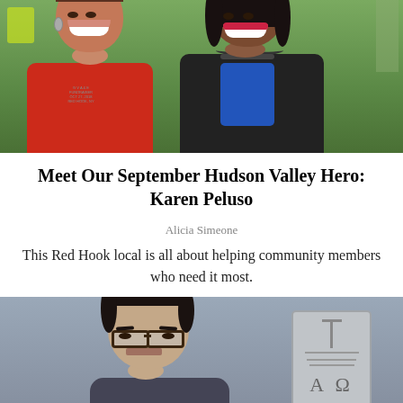[Figure (photo): Two women smiling together outdoors, one wearing a red t-shirt on the left and one wearing a black leather jacket with blue top on the right, green background]
Meet Our September Hudson Valley Hero: Karen Peluso
Alicia Simeone
This Red Hook local is all about helping community members who need it most.
[Figure (photo): Portrait of a person with dark hair, wearing glasses, standing in front of a stone carving showing a cross and Alpha-Omega (Α Ω) symbols]